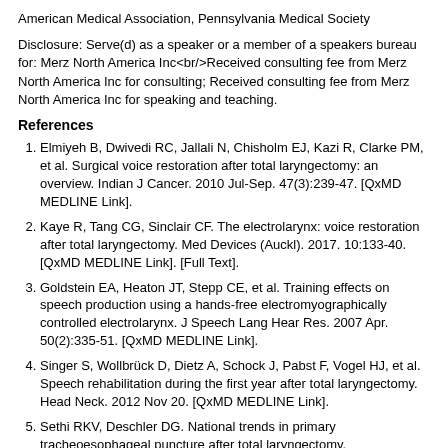American Medical Association, Pennsylvania Medical Society
Disclosure: Serve(d) as a speaker or a member of a speakers bureau for: Merz North America Inc<br/>Received consulting fee from Merz North America Inc for consulting; Received consulting fee from Merz North America Inc for speaking and teaching.
References
Elmiyeh B, Dwivedi RC, Jallali N, Chisholm EJ, Kazi R, Clarke PM, et al. Surgical voice restoration after total laryngectomy: an overview. Indian J Cancer. 2010 Jul-Sep. 47(3):239-47. [QxMD MEDLINE Link].
Kaye R, Tang CG, Sinclair CF. The electrolarynx: voice restoration after total laryngectomy. Med Devices (Auckl). 2017. 10:133-40. [QxMD MEDLINE Link]. [Full Text].
Goldstein EA, Heaton JT, Stepp CE, et al. Training effects on speech production using a hands-free electromyographically controlled electrolarynx. J Speech Lang Hear Res. 2007 Apr. 50(2):335-51. [QxMD MEDLINE Link].
Singer S, Wollbrück D, Dietz A, Schock J, Pabst F, Vogel HJ, et al. Speech rehabilitation during the first year after total laryngectomy. Head Neck. 2012 Nov 20. [QxMD MEDLINE Link].
Sethi RKV, Deschler DG. National trends in primary tracheoesophageal puncture after total laryngectomy. Laryngoscope. 2017 Dec 27. [QxMD MEDLINE Link].
Zimmer-Nowicka J, Morawiec-Sztandera A. Causes and indwelling times of multiple voice prosthesis replacements in patients after total laryngectomy - analysis of 184 replacements in 42 patients. Otolaryngol Pol. 2012 Sep.